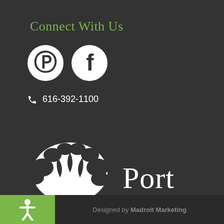Connect With Us
[Figure (logo): Pinterest and Facebook social media icons (white circles with Pinterest and Facebook symbols)]
📞 616-392-1100
[Figure (logo): Port Pediatric Dentistry logo — white baobab tree silhouette on dark background with text: Port PEDIATRIC DENTISTRY]
Designed by Madroit Marketing